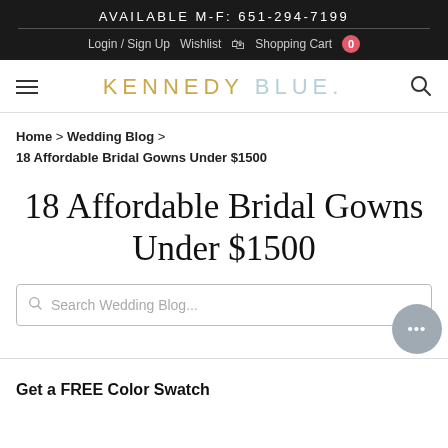AVAILABLE M-F: 651-294-7199
Login / Sign Up  Wishlist  Shopping Cart  0
[Figure (logo): Kennedy Blue logo with hamburger menu on left and search icon on right]
Home > Wedding Blog > 18 Affordable Bridal Gowns Under $1500
18 Affordable Bridal Gowns Under $1500
Search Wedding Blog...
Get a FREE Color Swatch